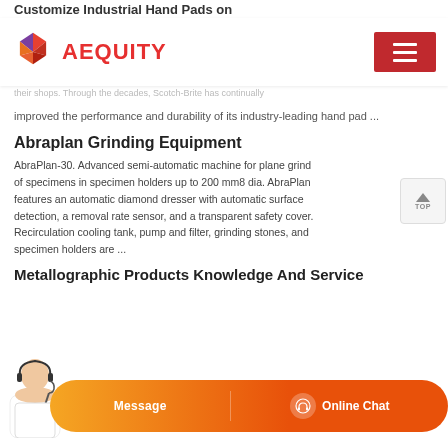Customize Industrial Hand Pads on
Scotch-Brite The leader in nonwoven hand pads. Generations of
[Figure (logo): Aequity logo with geometric diamond-shaped icon in purple, orange, and red, next to red bold text reading AEQUITY. Red hamburger menu button on the right.]
their shops. Through the decades, Scotch-Brite has continually improved the performance and durability of its industry-leading hand pad ...
Abraplan Grinding Equipment
AbraPlan-30. Advanced semi-automatic machine for plane grinding of specimens in specimen holders up to 200 mm8 dia. AbraPlan features an automatic diamond dresser with automatic surface detection, a removal rate sensor, and a transparent safety cover. Recirculation cooling tank, pump and filter, grinding stones, and specimen holders are ...
Metallographic Products Knowledge And Service
[Figure (screenshot): Bottom chat bar with customer service avatar on the left and orange gradient chat buttons for Message and Online Chat]